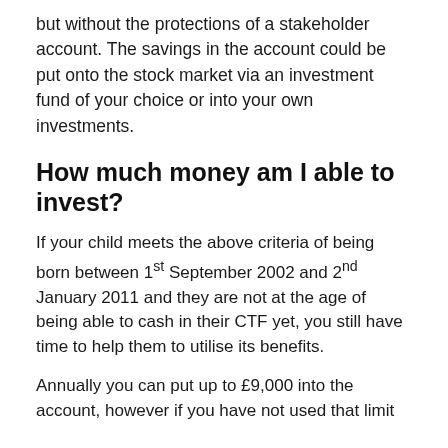but without the protections of a stakeholder account. The savings in the account could be put onto the stock market via an investment fund of your choice or into your own investments.
How much money am I able to invest?
If your child meets the above criteria of being born between 1st September 2002 and 2nd January 2011 and they are not at the age of being able to cash in their CTF yet, you still have time to help them to utilise its benefits.
Annually you can put up to £9,000 into the account, however if you have not used that limit